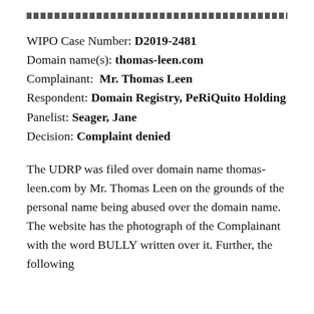WIPO UDRP CASE TRANSFER
WIPO Case Number: D2019-2481
Domain name(s): thomas-leen.com
Complainant: Mr. Thomas Leen
Respondent: Domain Registry, PeRiQuito Holding
Panelist: Seager, Jane
Decision: Complaint denied
The UDRP was filed over domain name thomas-leen.com by Mr. Thomas Leen on the grounds of the personal name being abused over the domain name. The website has the photograph of the Complainant with the word BULLY written over it. Further, the following